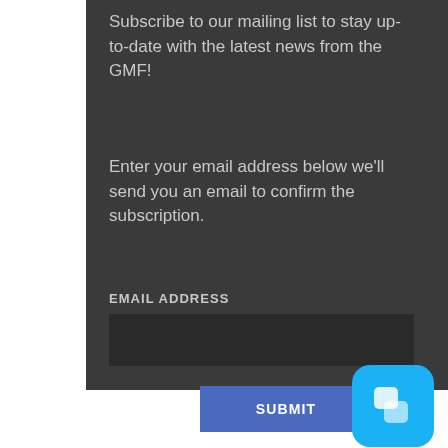Subscribe to our mailing list to stay up-to-date with the latest news from the GMF!
Enter your email address below we'll send you an email to confirm the subscription.
EMAIL ADDRESS
[Figure (screenshot): Empty email address text input field with dark background]
SUBMIT
[Figure (logo): Blue rounded square chat/messaging icon with two speech bubble shapes]